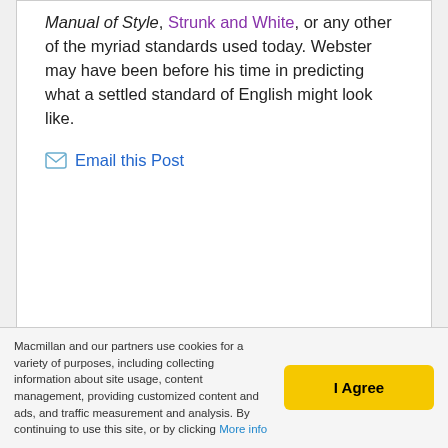Manual of Style, Strunk and White, or any other of the myriad standards used today. Webster may have been before his time in predicting what a settled standard of English might look like.
Email this Post
Macmillan and our partners use cookies for a variety of purposes, including collecting information about site usage, content management, providing customized content and ads, and traffic measurement and analysis. By continuing to use this site, or by clicking More info